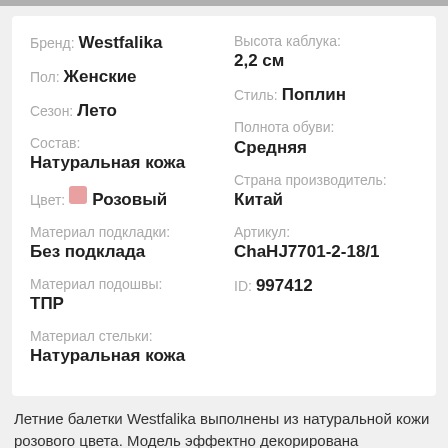| Бренд: | Westfalika | Высота каблука: | 2,2 см |
| Пол: | Женские | Стиль: | Поплин |
| Сезон: | Лето | Полнота обуви: | Средняя |
| Состав: | Натуральная кожа | Страна производитель: | Китай |
| Цвет: | Розовый | Артикул: | ChaHJ7701-2-18/1 |
| Материал подкладки: | Без подклада | ID: | 997412 |
| Материал подошвы: | ТПР |  |  |
| Материал стельки: | Натуральная кожа |  |  |
Летние балетки Westfalika выполнены из натуральной кожи розового цвета. Модель эффектно декорирована